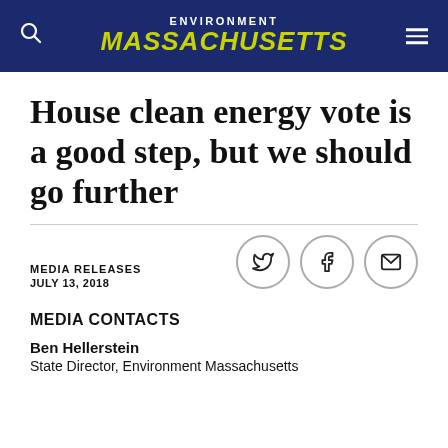ENVIRONMENT MASSACHUSETTS
House clean energy vote is a good step, but we should go further
MEDIA RELEASES
JULY 13, 2018
MEDIA CONTACTS
Ben Hellerstein
State Director, Environment Massachusetts